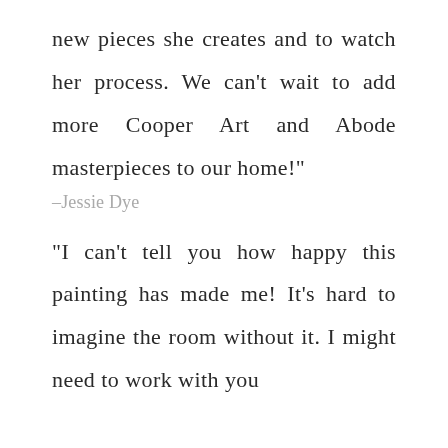new pieces she creates and to watch her process. We can't wait to add more Cooper Art and Abode masterpieces to our home!"
–Jessie Dye
"I can't tell you how happy this painting has made me! It's hard to imagine the room without it. I might need to work with you